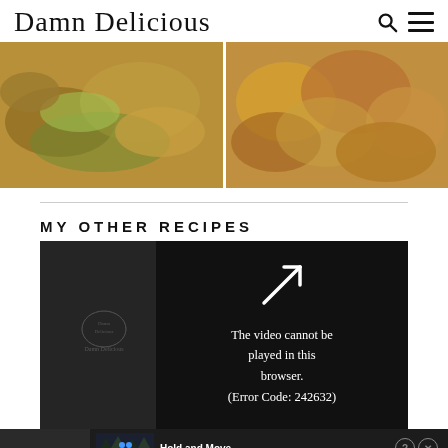Damn Delicious
[Figure (photo): Two food photos side by side: left shows stuffed jalapeños or tacos with green filling, right shows golden fried potato balls or nuggets on a wooden surface]
MY OTHER RECIPES
[Figure (screenshot): Video player showing error message: 'The video cannot be played in this browser. (Error Code: 242632)' with a play arrow icon, overlaid with an advertisement strip at the bottom showing 'Hold and Move' text with blue figures, close buttons, and a landscape background image]